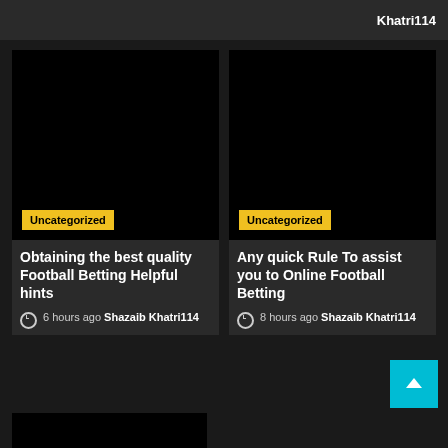Khatri114
[Figure (photo): Black image with Uncategorized yellow badge - left card]
Obtaining the best quality Football Betting Helpful hints
6 hours ago  Shazaib Khatri114
[Figure (photo): Black image with Uncategorized yellow badge - right card]
Any quick Rule To assist you to Online Football Betting
8 hours ago  Shazaib Khatri114